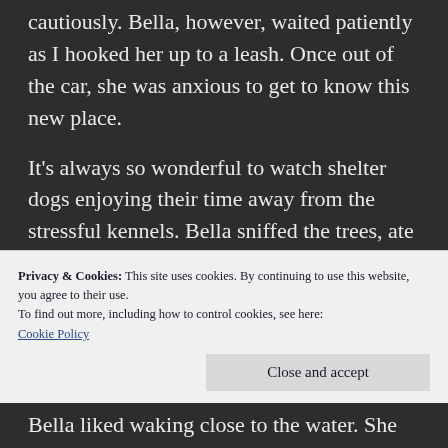cautiously. Bella, however, waited patiently as I hooked her up to a leash. Once out of the car, she was anxious to get to know this new place.
It’s always so wonderful to watch shelter dogs enjoying their time away from the stressful kennels. Bella sniffed the trees, ate some grass, watched curiously every person we passed, and acted a little too reactively to a dog. But once I got her back into a heel, she found her serenity. She didn’t tweak at all when we passed a group
Privacy & Cookies: This site uses cookies. By continuing to use this website, you agree to their use.
To find out more, including how to control cookies, see here: Cookie Policy
Close and accept
Bella liked waking close to the water. She kept